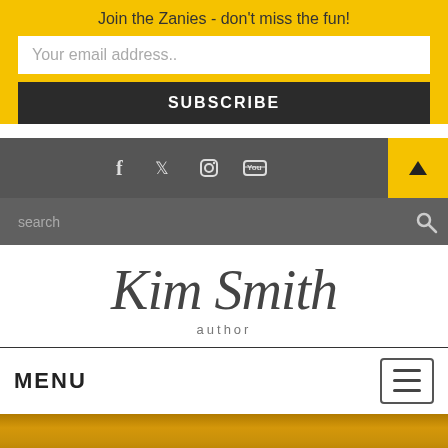Join the Zanies - don't miss the fun!
Your email address..
SUBSCRIBE
[Figure (infographic): Social media icon bar with Facebook, Twitter, Instagram, YouTube icons on dark grey background; yellow triangle/arrow button on right]
[Figure (infographic): Search bar on dark grey background with magnifying glass icon]
Kim Smith
author
MENU
[Figure (infographic): Hamburger menu button (three horizontal lines) in square border]
[Figure (photo): Gold/orange decorative image band]
SPAM: NOT ON MY WATCH